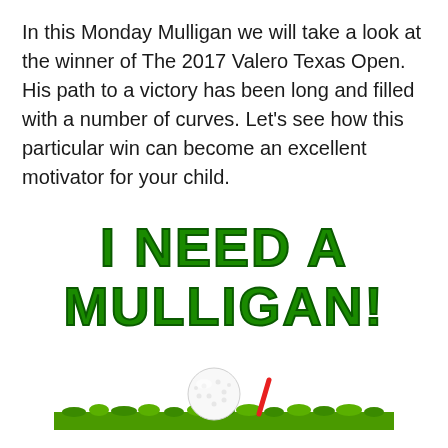In this Monday Mulligan we will take a look at the winner of The 2017 Valero Texas Open. His path to a victory has been long and filled with a number of curves. Let's see how this particular win can become an excellent motivator for your child.
[Figure (illustration): Bold green text on white background reading 'I NEED A MULLIGAN!' in large blocky letters with dark green outline]
[Figure (illustration): Golf ball sitting on red tee on green grass strip against white background]